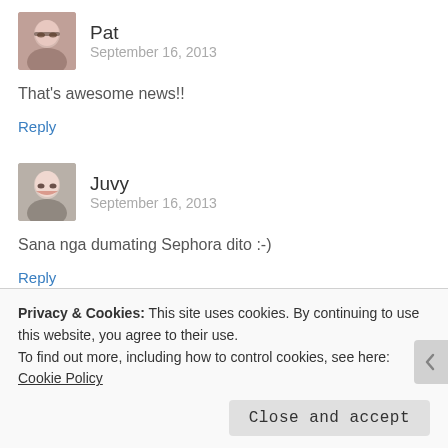[Figure (photo): Avatar photo of Pat - woman with glasses]
Pat
September 16, 2013
That's awesome news!!
Reply
[Figure (photo): Avatar photo of Juvy - smiling woman]
Juvy
September 16, 2013
Sana nga dumating Sephora dito :-)
Reply
[Figure (photo): Avatar photo of Jo Cayabyab - partially visible, purple/pixel image]
Jo Cayabyab
Privacy & Cookies: This site uses cookies. By continuing to use this website, you agree to their use.
To find out more, including how to control cookies, see here: Cookie Policy
Close and accept